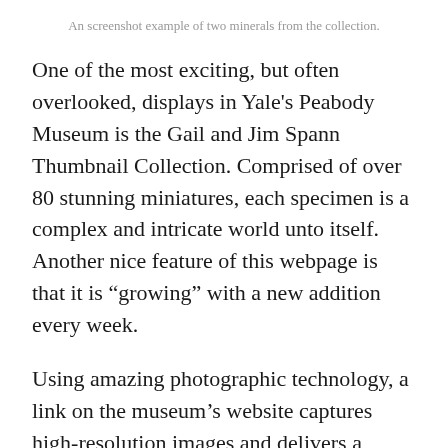An screenshot example of two minerals from the collection.
One of the most exciting, but often overlooked, displays in Yale's Peabody Museum is the Gail and Jim Spann Thumbnail Collection. Comprised of over 80 stunning miniatures, each specimen is a complex and intricate world unto itself. Another nice feature of this webpage is that it is “growing” with a new addition every week.
Using amazing photographic technology, a link on the museum's website captures high-resolution images and delivers a unique and fluid 360-degree interactive experience that includes locality information and the chemical formula for each mineral. This new technology allows you to explore every minute detail by spinning and magnifying each of these tiny, delicate